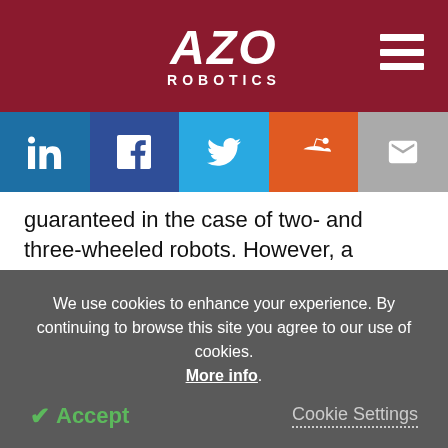AZO ROBOTICS
guaranteed in the case of two- and three-wheeled robots. However, a suspension system is necessary for balance in robots with more than two wheels.
Issues of maneuverability, control, and traction of the wheeled robot are far more important to resolve than f...
We use cookies to enhance your experience. By continuing to browse this site you agree to our use of cookies. More info.
✔ Accept
Cookie Settings